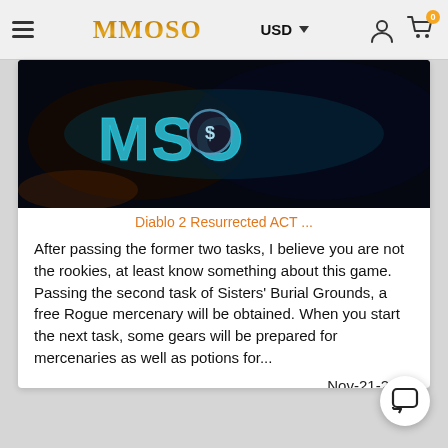MMOSO — USD — User icon — Cart (0)
[Figure (screenshot): Dark banner image showing MMOSO logo with a coin/dollar symbol, glowing blue-teal text on black background]
Diablo 2 Resurrected ACT ...
After passing the former two tasks, I believe you are not the rookies, at least know something about this game. Passing the second task of Sisters' Burial Grounds, a free Rogue mercenary will be obtained. When you start the next task, some gears will be prepared for mercenaries as well as potions for...
Nov-21-2021
[Figure (other): Chat/support button (speech bubble icon) in bottom right corner]